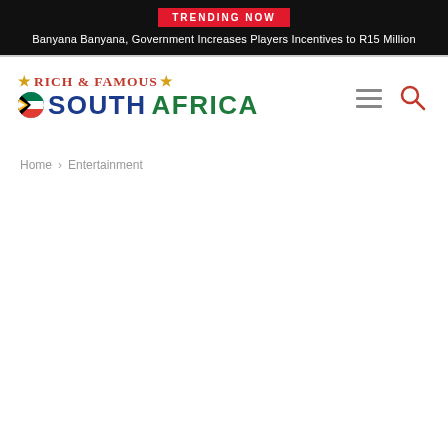TRENDING NOW
Banyana Banyana, Government Increases Players Incentives to R15 Million
[Figure (logo): Rich & Famous South Africa logo with star decorations and South Africa flag icon]
Home › Entertainment